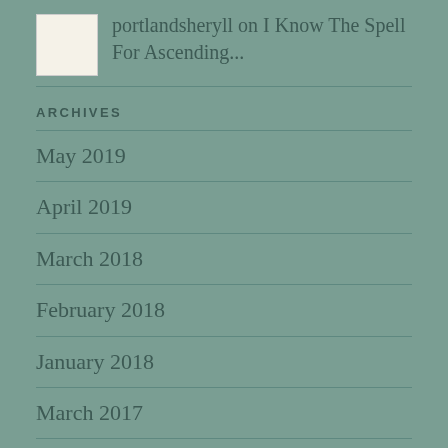portlandsheryll on I Know The Spell For Ascending...
ARCHIVES
May 2019
April 2019
March 2018
February 2018
January 2018
March 2017
February 2017